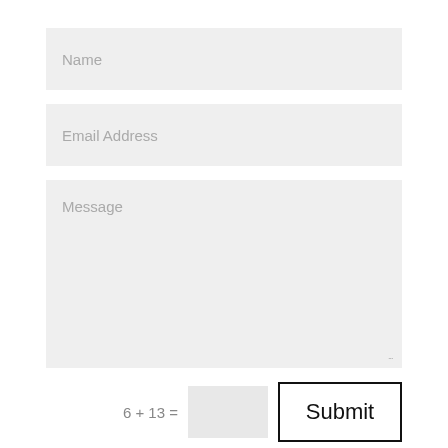Name
Email Address
Message
6 + 13 =
Submit